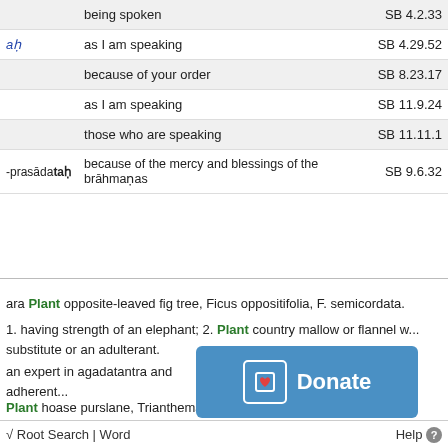| Word | Meaning | Reference |
| --- | --- | --- |
|  | being spoken | SB 4.2.33 |
| aḥ | as I am speaking | SB 4.29.52 |
|  | because of your order | SB 8.23.17 |
|  | as I am speaking | SB 11.9.24 |
|  | those who are speaking | SB 11.11.1 |
| -prasādataḥ | because of the mercy and blessings of the brāhmaṇas | SB 9.6.32 |
ara Plant opposite-leaved fig tree, Ficus oppositifolia, F. semicordata.
1. having strength of an elephant; 2. Plant country mallow or flannel w... substitute or an adulterant.
an expert in agadatantra and adherent...
Plant hoase purslane, Trianthema port... T. o...
√ Root Search | Word    Help